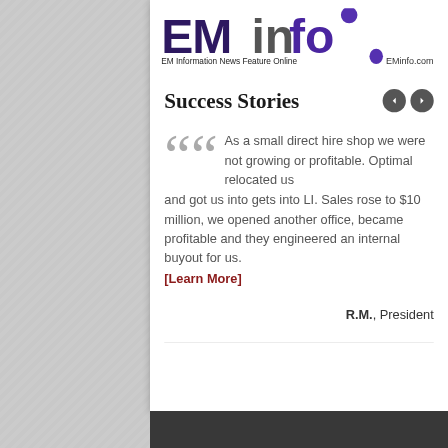[Figure (logo): EMinfo logo — stylized text reading 'EMinfo' in purple/dark colors with tagline 'EM Information News Feature Online' and 'EMinfo.com']
Success Stories
As a small direct hire shop we were not growing or profitable. Optimal relocated us and got us into gets into LI. Sales rose to $10 million, we opened another office, became profitable and they engineered an internal buyout for us.
[Learn More]
R.M., President